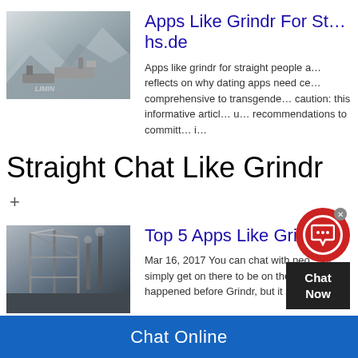[Figure (photo): Industrial mining equipment on grey landscape with mountains in background, watermark LIMIN]
Apps Like Grindr For St… hs.de
Apps like grindr for straight people a… reflects on why dating apps need ce… comprehensive to transgende… caution: this informative articl… u… recommendations to committ… i…
Straight Chat Like Grindr
+
[Figure (photo): Industrial construction or mining structure with cranes and scaffolding against sky]
Top 5 Apps Like Grindr f…
Mar 16, 2017 You can chat with peo… or simply get on there to be on the p… happened before Grindr, but it shou…
[Figure (screenshot): Chat Now widget overlay with red speech bubble icon and dark Chat Now label]
Chat Online